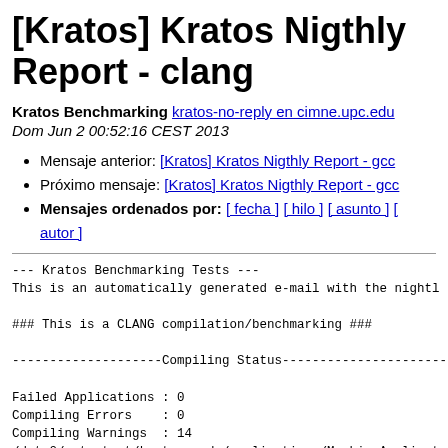[Kratos] Kratos Nigthly Report - clang
Kratos Benchmarking kratos-no-reply en cimne.upc.edu
Dom Jun 2 00:52:16 CEST 2013
Mensaje anterior: [Kratos] Kratos Nigthly Report - gcc
Próximo mensaje: [Kratos] Kratos Nigthly Report - gcc
Mensajes ordenados por: [ fecha ] [ hilo ] [ asunto ] [ autor ]
--- Kratos Benchmarking Tests ---
This is an automatically generated e-mail with the nightl

### This is a CLANG compilation/benchmarking ###

--------------------Compiling Status-------------------------

Failed Applications : 0
Compiling Errors    : 0
Compiling Warnings  : 14
/data0/auto-test/kratos-code/applications/MeshingApplicat
1 warning generated.
/data0/auto-test/kratos-code/applications/ExternalSolver